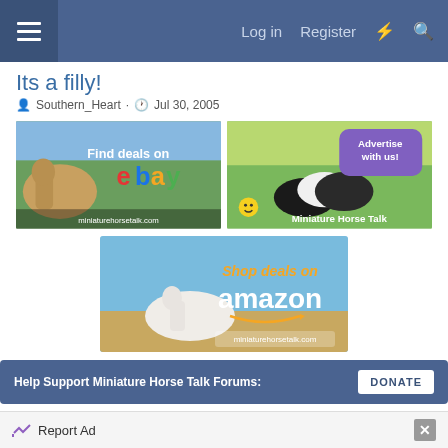Log in  Register
Its a filly!
Southern_Heart · Jul 30, 2005
[Figure (screenshot): eBay advertisement banner: 'Find deals on ebay' with horse photo and miniaturehorsetalk.com]
[Figure (screenshot): Miniature Horse Talk 'Advertise with us!' banner with two horses on green field]
[Figure (screenshot): Amazon advertisement banner: 'Shop deals on amazon' with white horse and miniaturehorsetalk.com]
Help Support Miniature Horse Talk Forums:
DONATE
Report Ad